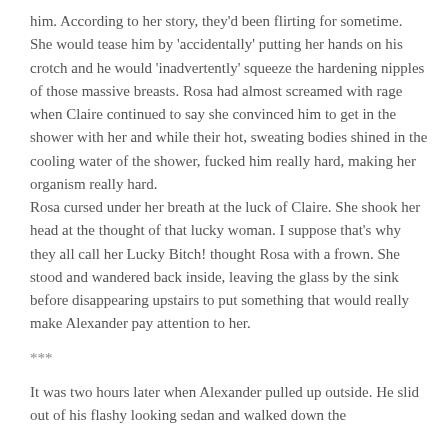him. According to her story, they'd been flirting for sometime. She would tease him by 'accidentally' putting her hands on his crotch and he would 'inadvertently' squeeze the hardening nipples of those massive breasts. Rosa had almost screamed with rage when Claire continued to say she convinced him to get in the shower with her and while their hot, sweating bodies shined in the cooling water of the shower, fucked him really hard, making her organism really hard.
Rosa cursed under her breath at the luck of Claire. She shook her head at the thought of that lucky woman. I suppose that's why they all call her Lucky Bitch! thought Rosa with a frown. She stood and wandered back inside, leaving the glass by the sink before disappearing upstairs to put something that would really make Alexander pay attention to her.
***
It was two hours later when Alexander pulled up outside. He slid out of his flashy looking sedan and walked down the